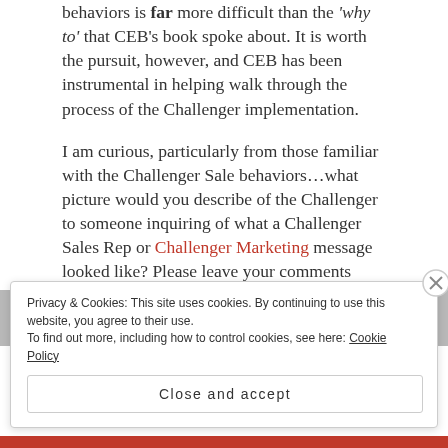behaviors is far more difficult than the 'why to' that CEB's book spoke about. It is worth the pursuit, however, and CEB has been instrumental in helping walk through the process of the Challenger implementation.
I am curious, particularly from those familiar with the Challenger Sale behaviors…what picture would you describe of the Challenger to someone inquiring of what a Challenger Sales Rep or Challenger Marketing message looked like? Please leave your comments below.
Privacy & Cookies: This site uses cookies. By continuing to use this website, you agree to their use. To find out more, including how to control cookies, see here: Cookie Policy
Close and accept